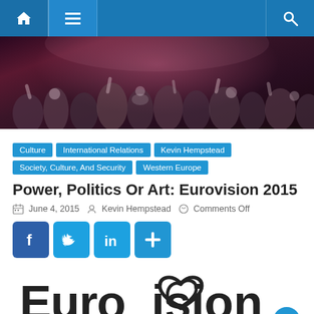Navigation bar with home, menu, and search icons
[Figure (photo): Crowd photo at a concert/event with dark reddish-purple lighting, people with hands raised]
Culture | International Relations | Kevin Hempstead | Society, Culture, And Security | Western Europe
Power, Politics Or Art: Eurovision 2015
June 4, 2015  Kevin Hempstead  Comments Off
[Figure (infographic): Social sharing buttons: Facebook (f), Twitter (bird), LinkedIn (in), plus (+)]
[Figure (logo): Eurovision logo in black handwritten-style lettering with a heart shape replacing the O in Eurovision]